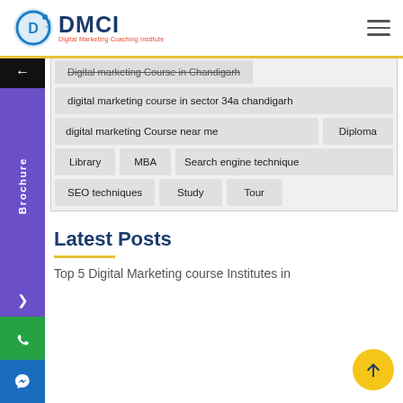[Figure (logo): DMCI Digital Marketing Coaching Institute logo with circular icon and text]
Digital marketing Course in Chandigarh
digital marketing course in sector 34a chandigarh
digital marketing Course near me
Diploma
Library
MBA
Search engine technique
SEO techniques
Study
Tour
Latest Posts
Top 5 Digital Marketing course Institutes in